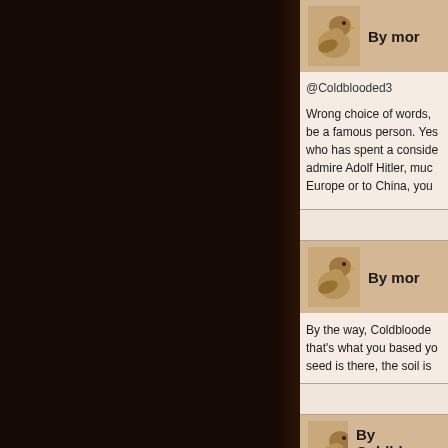[Figure (screenshot): Dark torn paper / book cover on the left two-thirds of the page]
@Coldblooded3
Wrong choice of words, be a famous person. Yes who has spent a conside admire Adolf Hitler, muc Europe or to China, you
By the way, Coldbloode that's what you based yo seed is there, the soil is
By Coldbloo